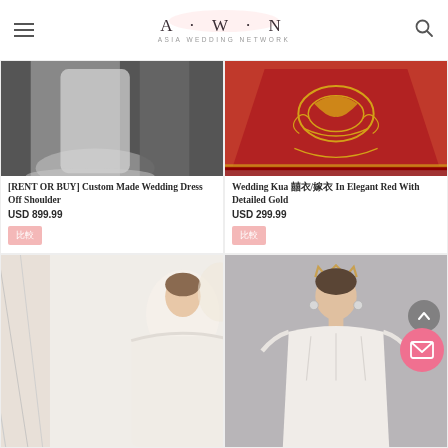A·W·N ASIA WEDDING NETWORK
[Figure (photo): Black and white photo of a custom made off-shoulder wedding dress]
[RENT OR BUY] Custom Made Wedding Dress Off Shoulder
USD 899.99
[Figure (photo): Red traditional Chinese Wedding Kua dress with detailed gold embroidery]
Wedding Kua 囍衣/嫁衣 In Elegant Red With Detailed Gold
USD 299.99
[Figure (photo): White off-shoulder wedding dress with feathered details]
[Figure (photo): Model in a white off-shoulder structured wedding gown with tiara]